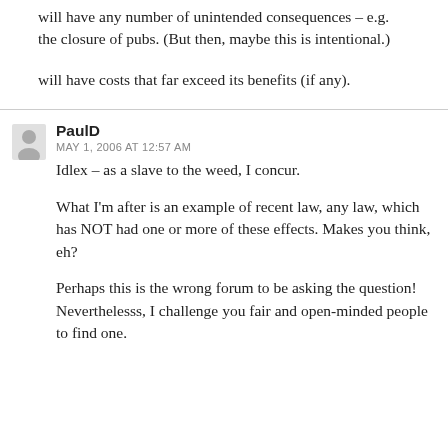will have any number of unintended consequences – e.g. the closure of pubs. (But then, maybe this is intentional.)
will have costs that far exceed its benefits (if any).
PaulD
MAY 1, 2006 AT 12:57 AM
Idlex – as a slave to the weed, I concur.
What I'm after is an example of recent law, any law, which has NOT had one or more of these effects. Makes you think, eh?
Perhaps this is the wrong forum to be asking the question! Neverthelesss, I challenge you fair and open-minded people to find one.